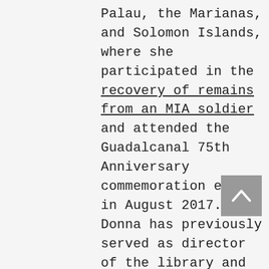Palau, the Marianas, and Solomon Islands, where she participated in the recovery of remains from an MIA soldier and attended the Guadalcanal 75th Anniversary commemoration events in August 2017. Donna has previously served as director of the library and archives at the Empire State Aerosciences Museum in Glenville, NY and as a researcher for nonprofit organizations dedicated to finding MIAs. In addition to her personal writing and research projects, she volunteers for the South Pacific World War II Museum on Espiritu Santo in